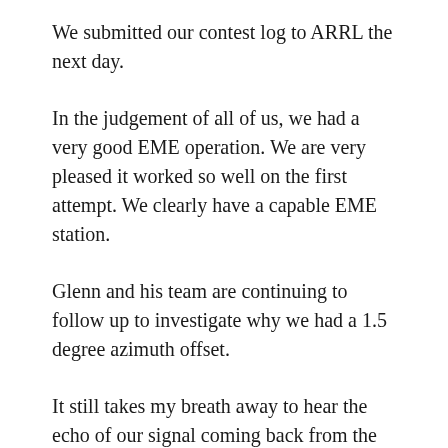We submitted our contest log to ARRL the next day.
In the judgement of all of us, we had a very good EME operation. We are very pleased it worked so well on the first attempt. We clearly have a capable EME station.
Glenn and his team are continuing to follow up to investigate why we had a 1.5 degree azimuth offset.
It still takes my breath away to hear the echo of our signal coming back from the Moon, a couple of seconds later. The speed of light isn’t just a value in the books, it is something you